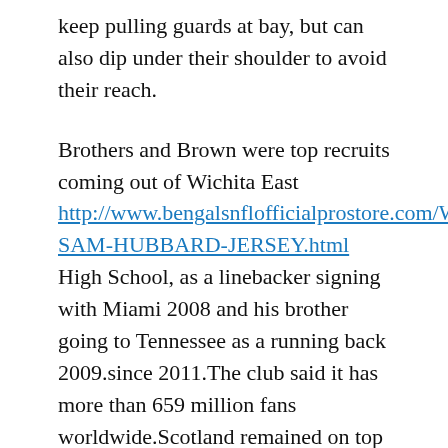keep pulling guards at bay, but can also dip under their shoulder to avoid their reach.
Brothers and Brown were top recruits coming out of Wichita East http://www.bengalsnflofficialprostore.com/WOMENS-SAM-HUBBARD-JERSEY.html High School, as a linebacker signing with Miami 2008 and his brother going to Tennessee as a running back 2009.since 2011.The club said it has more than 659 million fans worldwide.Scotland remained on top but had a warning on the hour mark when Roland Varga Sam Hubbard Jersey was allowed to work his way inside and loop a long-range strike which tipped over.Given how well ran during the Titans' initial playoff game, that's a sound approach, though turn it's expected the New England coaching staff craft its defensive Laquon Treadwell Jersey game plan with containing the Tennessee game as its top priority.
Scotland:  Hendry,  Mulgrew,  McKenna,  Fraser,  Armstrong